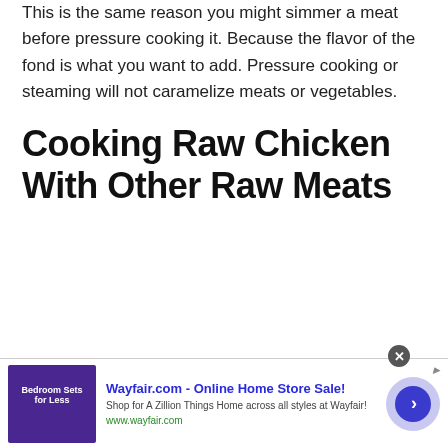This is the same reason you might simmer a meat before pressure cooking it. Because the flavor of the fond is what you want to add. Pressure cooking or steaming will not caramelize meats or vegetables.
Cooking Raw Chicken With Other Raw Meats
[Figure (screenshot): Advertisement banner for Wayfair.com showing 'Online Home Store Sale!' with a bedroom furniture image on the left, ad text in the center, and a purple circle arrow button on the right.]